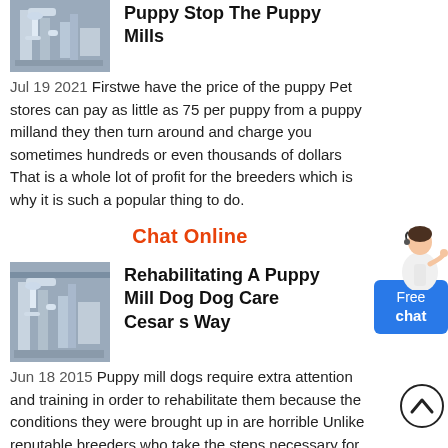[Figure (photo): Industrial facility with pipes and metal structures, grayscale/blue-toned thumbnail]
Puppy Stop The Puppy Mills
Jul 19 2021  Firstwe have the price of the puppy Pet stores can pay as little as 75 per puppy from a puppy milland they then turn around and charge you sometimes hundreds or even thousands of dollars That is a whole lot of profit for the breeders which is why it is such a popular thing to do.
Chat Online
[Figure (photo): Industrial facility with pipes and metal structures, grayscale/blue-toned thumbnail]
Rehabilitating A Puppy Mill Dog Dog Care Cesar s Way
Jun 18 2015  Puppy mill dogs require extra attention and training in order to rehabilitate them because the conditions they were brought up in are horrible Unlike reputable breeders who take the steps necessary for the comfort of their breeding dogs and puppies
[Figure (illustration): Customer service agent figure (woman in white) pointing right, used as chat widget decoration]
[Figure (other): Blue Free chat button widget]
[Figure (other): Scroll up button - circle with upward chevron]